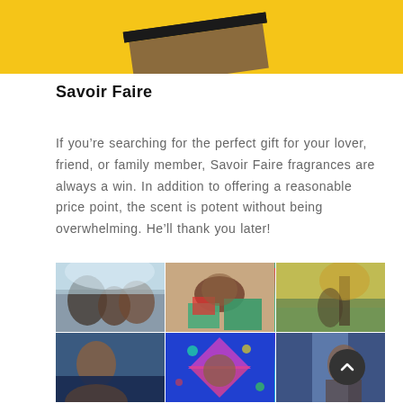[Figure (photo): Top portion of a product photo on yellow background showing a dark gift box]
Savoir Faire
If you’re searching for the perfect gift for your lover, friend, or family member, Savoir Faire fragrances are always a win. In addition to offering a reasonable price point, the scent is potent without being overwhelming. He’ll thank you later!
[Figure (photo): Grid of six lifestyle photos: family in snow, child with gifts, person in autumn park, selfie portrait, colorful confetti celebration, and portrait against blue background]